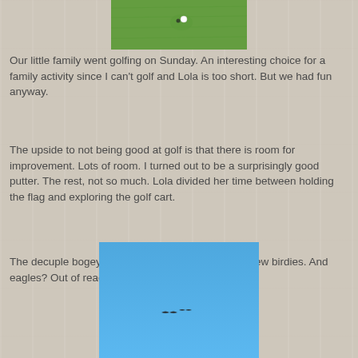[Figure (photo): Aerial/overhead view of a golf green with a white golf ball near the hole, green grass visible.]
Our little family went golfing on Sunday. An interesting choice for a family activity since I can't golf and Lola is too short. But we had fun anyway.
The upside to not being good at golf is that there is room for improvement. Lots of room. I turned out to be a surprisingly good putter. The rest, not so much. Lola divided her time between holding the flag and exploring the golf cart.
The decuple bogeys were all mine, Ryan scored a few birdies. And eagles? Out of reach for all of us.
[Figure (photo): Blue sky photo with two small birds (eagles) visible as tiny silhouettes in the distance.]